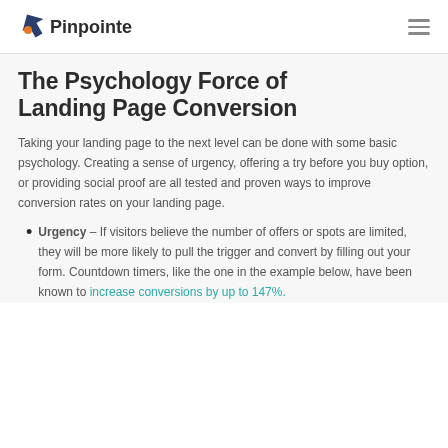Pinpointe
The Psychology Force of Landing Page Conversion
Taking your landing page to the next level can be done with some basic psychology. Creating a sense of urgency, offering a try before you buy option, or providing social proof are all tested and proven ways to improve conversion rates on your landing page.
Urgency – If visitors believe the number of offers or spots are limited, they will be more likely to pull the trigger and convert by filling out your form. Countdown timers, like the one in the example below, have been known to increase conversions by up to 147%.